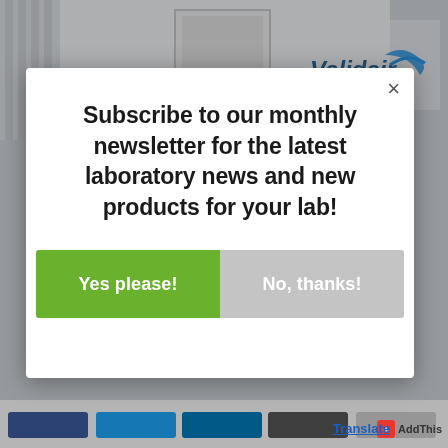[Figure (photo): Background photo of an office/laboratory reception area with a Validair logo sign on the wall, white walls, a door visible]
Subscribe to our monthly newsletter for the latest laboratory news and new products for your lab!
Yes please!
No, thanks!
AddThis
Translate